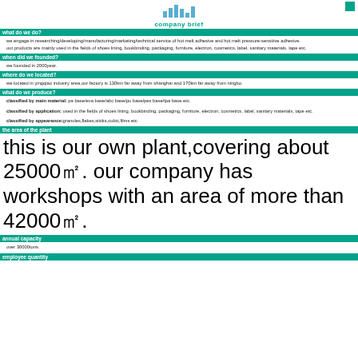company brief
what do we do?
we engage in researching/developing/manufacturing/marketing/technical service of hot melt adhesive and hot melt pressure-sensitive adhesive.
our products are mainly used in the fields of shoes lining, bookbinding, packaging, furniture, electron, cosmetics, label, sanitary materials, tape etc.
when did we founded?
we founded in 2000year.
where do we located?
we located in yingqiao industry area,our factory is 130km far away from shanghai and 170km far away from ningbo.
what do we produce?
classified by main material: pa base/eva base/abc base/pu base/pes base/tpa base etc.
classified by application: used in the fields of shoes lining, bookbinding, packaging, furniture, electron, cosmetics, label, sanitary materials, tape etc.
classified by appearance:granules,flakes,sticks,cubic,films etc.
the area of the plant
this is our own plant,covering about 25000㎡. our company has workshops with an area of more than 42000㎡.
annual capacity
over 30000tons.
employee quantity